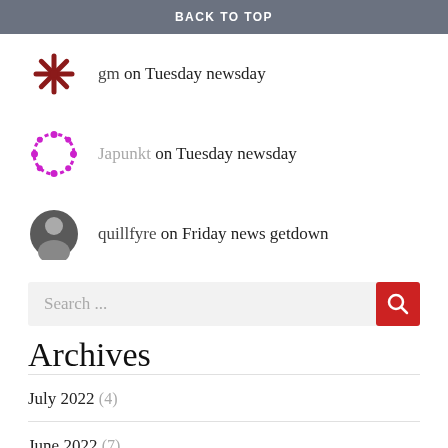BACK TO TOP
gm on Tuesday newsday
Japunkt on Tuesday newsday
quillfyre on Friday news getdown
Search ...
Archives
July 2022 (4)
June 2022 (7)
May 2022 (10)